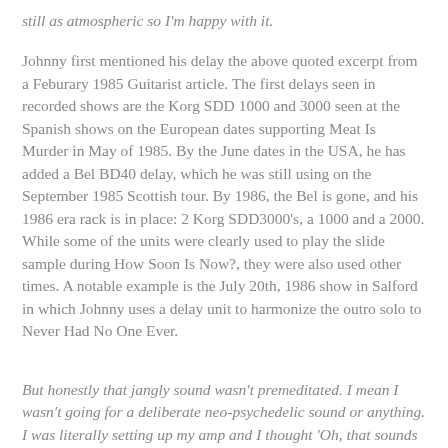still as atmospheric so I'm happy with it.
Johnny first mentioned his delay the above quoted excerpt from a Feburary 1985 Guitarist article. The first delays seen in recorded shows are the Korg SDD 1000 and 3000 seen at the Spanish shows on the European dates supporting Meat Is Murder in May of 1985. By the June dates in the USA, he has added a Bel BD40 delay, which he was still using on the September 1985 Scottish tour. By 1986, the Bel is gone, and his 1986 era rack is in place: 2 Korg SDD3000's, a 1000 and a 2000. While some of the units were clearly used to play the slide sample during How Soon Is Now?, they were also used other times. A notable example is the July 20th, 1986 show in Salford in which Johnny uses a delay unit to harmonize the outro solo to Never Had No One Ever.
But honestly that jangly sound wasn't premeditated. I mean I wasn't going for a deliberate neo-psychedelic sound or anything. I was literally setting up my amp and I thought 'Oh, that sounds too bassy' so I'd give it a little bit more on the chorus pedal and then that wasn't right, so I gave it some